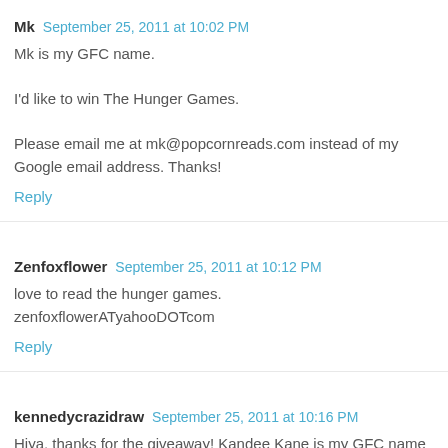Mk  September 25, 2011 at 10:02 PM
Mk is my GFC name.

I'd like to win The Hunger Games.

Please email me at mk@popcornreads.com instead of my Google email address. Thanks!
Reply
Zenfoxflower  September 25, 2011 at 10:12 PM
love to read the hunger games.
zenfoxflowerATyahooDOTcom
Reply
kennedycrazidraw  September 25, 2011 at 10:16 PM
Hiya, thanks for the giveaway! Kandee Kane is my GFC name and I'd love to win The Hunger Games.